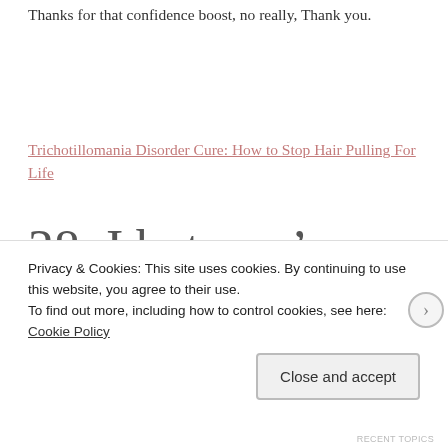Thanks for that confidence boost, no really, Thank you.
Trichotillomania Disorder Cure: How to Stop Hair Pulling For Life
28. I bet you’re late for everything. (You
Privacy & Cookies: This site uses cookies. By continuing to use this website, you agree to their use.
To find out more, including how to control cookies, see here: Cookie Policy
Close and accept